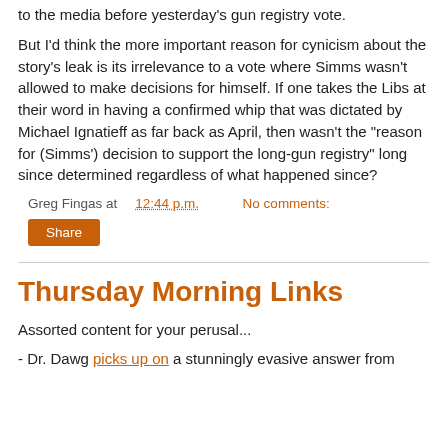to the media before yesterday's gun registry vote.
But I'd think the more important reason for cynicism about the story's leak is its irrelevance to a vote where Simms wasn't allowed to make decisions for himself. If one takes the Libs at their word in having a confirmed whip that was dictated by Michael Ignatieff as far back as April, then wasn't the "reason for (Simms') decision to support the long-gun registry" long since determined regardless of what happened since?
Greg Fingas at 12:44 p.m.   No comments:
Share
Thursday Morning Links
Assorted content for your perusal...
- Dr. Dawg picks up on a stunningly evasive answer from